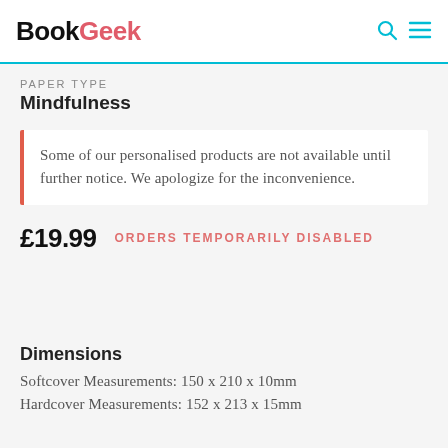BookGeek
PAPER TYPE
Mindfulness
Some of our personalised products are not available until further notice. We apologize for the inconvenience.
£19.99  ORDERS TEMPORARILY DISABLED
Dimensions
Softcover Measurements: 150 x 210 x 10mm
Hardcover Measurements: 152 x 213 x 15mm